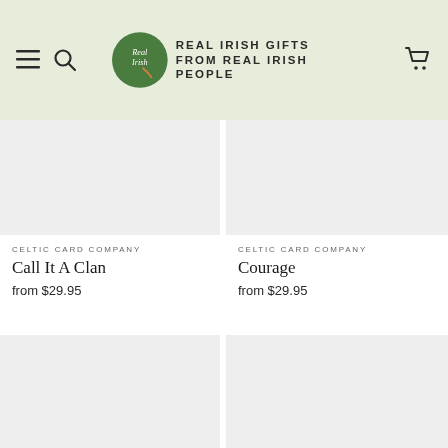Real Irish Gifts From Real Irish People
CELTIC CARD COMPANY
Call It A Clan
from $29.95
CELTIC CARD COMPANY
Courage
from $29.95
[Figure (photo): Product image placeholder for Call It A Clan (bottom row)]
[Figure (photo): Product image placeholder for Courage (bottom row)]